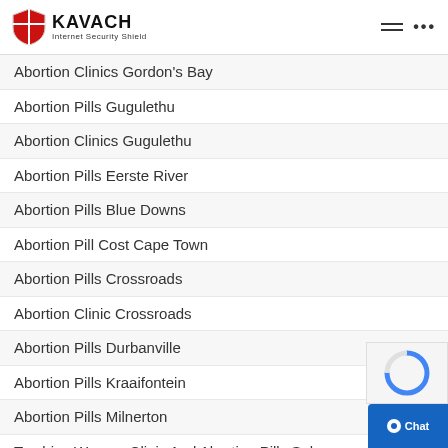Kavach Internet Security Shield
Abortion Clinics Gordon's Bay
Abortion Pills Gugulethu
Abortion Clinics Gugulethu
Abortion Pills Eerste River
Abortion Pills Blue Downs
Abortion Pill Cost Cape Town
Abortion Pills Crossroads
Abortion Clinic Crossroads
Abortion Pills Durbanville
Abortion Pills Kraaifontein
Abortion Pills Milnerton
Tembisa Women Clinic And Abortion Pills Sale
Abortion Pills Sale Kwamhlanga
Nelspruit Legal Abortion Clinic Nelspruit